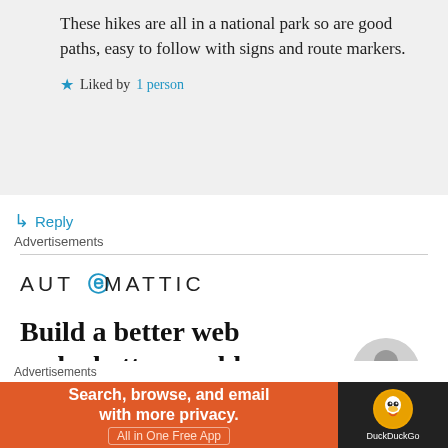These hikes are all in a national park so are good paths, easy to follow with signs and route markers.
Liked by 1 person
Reply
Advertisements
[Figure (logo): Automattic logo with stylized @ symbol]
Build a better web and a better world.
Advertisements
[Figure (infographic): DuckDuckGo advertisement banner: Search, browse, and email with more privacy. All in One Free App. Orange background with DuckDuckGo duck logo on dark right panel.]